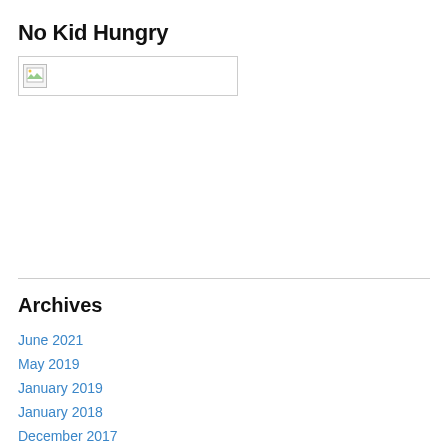No Kid Hungry
[Figure (photo): Broken/unloaded image placeholder with small icon]
Archives
June 2021
May 2019
January 2019
January 2018
December 2017